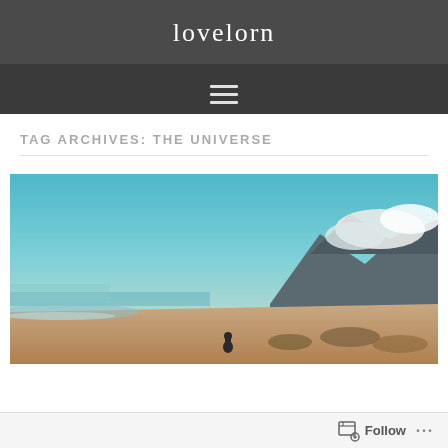lovelorn
TAG ARCHIVES:  THE UNIVERSE
[Figure (photo): A person standing alone on a wide sandy beach with mountains and dramatic clouds in the background under a blue sky.]